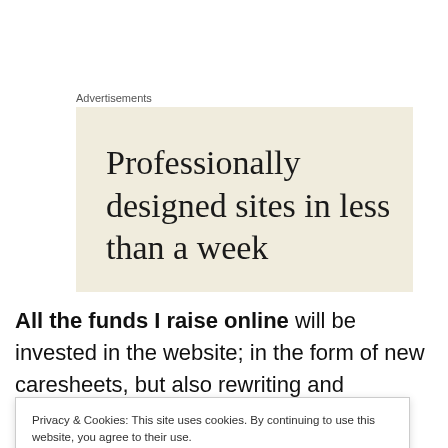Advertisements
[Figure (illustration): Advertisement banner with beige/cream background showing text: 'Professionally designed sites in less than a week']
All the funds I raise online will be invested in the website; in the form of new caresheets, but also rewriting and updating the old caresheets (some are scheduled to
Privacy & Cookies: This site uses cookies. By continuing to use this website, you agree to their use.
To find out more, including how to control cookies, see here: Cookie Policy
Close and accept